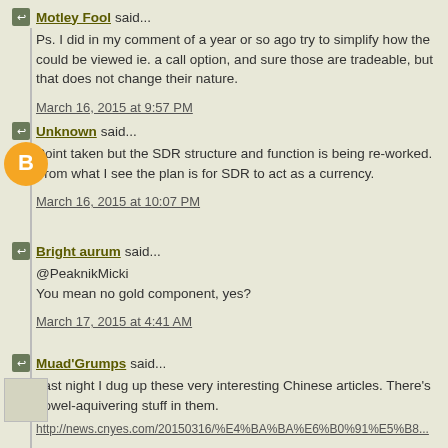Motley Fool said...
Ps. I did in my comment of a year or so ago try to simplify how the could be viewed ie. a call option, and sure those are tradeable, but that does not change their nature.
March 16, 2015 at 9:57 PM
Unknown said...
Point taken but the SDR structure and function is being re-worked. From what I see the plan is for SDR to act as a currency.
March 16, 2015 at 10:07 PM
Bright aurum said...
@PeaknikMicki
You mean no gold component, yes?
March 17, 2015 at 4:41 AM
Muad'Grumps said...
Last night I dug up these very interesting Chinese articles. There's bowel-aquivering stuff in them.
http://news.cnyes.com/20150316/%E4%BA%BA%E6%B0%91%E5%B8...